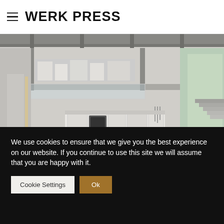WERK PRESS
[Figure (photo): Interior of a modern minimalist apartment with double-height ceilings, mezzanine level with open shelving and kitchen appliances, kitchen island with bar stools, bed visible in foreground, concrete and white tones throughout, large window on right side.]
We use cookies to ensure that we give you the best experience on our website. If you continue to use this site we will assume that you are happy with it.
Cookie Settings  Ok